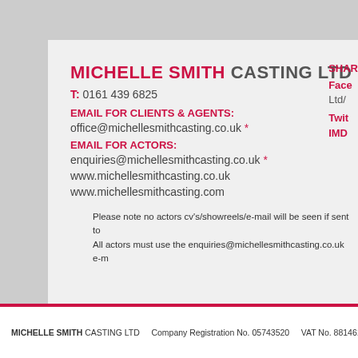MICHELLE SMITH CASTING LTD
T: 0161 439 6825
EMAIL FOR CLIENTS & AGENTS:
office@michellesmithcasting.co.uk *
EMAIL FOR ACTORS:
enquiries@michellesmithcasting.co.uk *
www.michellesmithcasting.co.uk
www.michellesmithcasting.com
SHAR
Face
Ltd/
Twit
IMD
Please note no actors cv's/showreels/e-mail will be seen if sent to
All actors must use the enquiries@michellesmithcasting.co.uk e-m
MICHELLE SMITH CASTING LTD   Company Registration No. 05743520   VAT No. 88146170